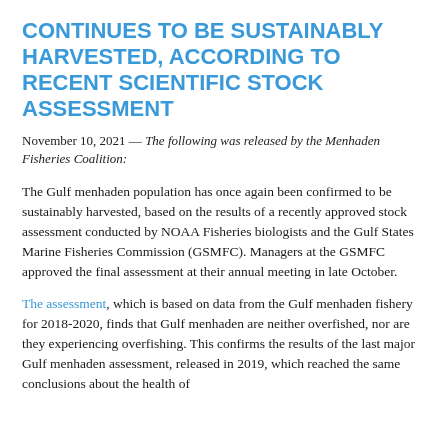CONTINUES TO BE SUSTAINABLY HARVESTED, ACCORDING TO RECENT SCIENTIFIC STOCK ASSESSMENT
November 10, 2021 — The following was released by the Menhaden Fisheries Coalition:
The Gulf menhaden population has once again been confirmed to be sustainably harvested, based on the results of a recently approved stock assessment conducted by NOAA Fisheries biologists and the Gulf States Marine Fisheries Commission (GSMFC). Managers at the GSMFC approved the final assessment at their annual meeting in late October.
The assessment, which is based on data from the Gulf menhaden fishery for 2018-2020, finds that Gulf menhaden are neither overfished, nor are they experiencing overfishing. This confirms the results of the last major Gulf menhaden assessment, released in 2019, which reached the same conclusions about the health of